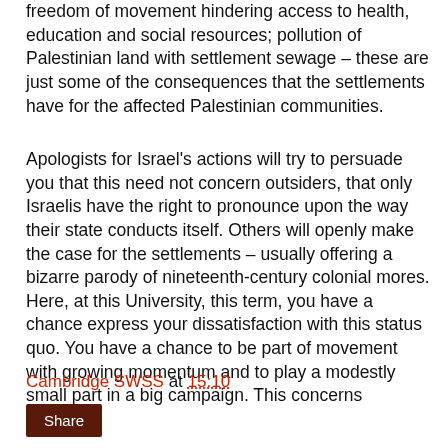freedom of movement hindering access to health, education and social resources; pollution of Palestinian land with settlement sewage – these are just some of the consequences that the settlements have for the affected Palestinian communities.
Apologists for Israel's actions will try to persuade you that this need not concern outsiders, that only Israelis have the right to pronounce upon the way their state conducts itself. Others will openly make the case for the settlements – usually offering a bizarre parody of nineteenth-century colonial mores. Here, at this University, this term, you have a chance express your dissatisfaction with this status quo. You have a chance to be part of movement with growing momentum and to play a modestly small part in a big campaign. This concerns everyone.
Cambridge SWSS at 15:10
Share